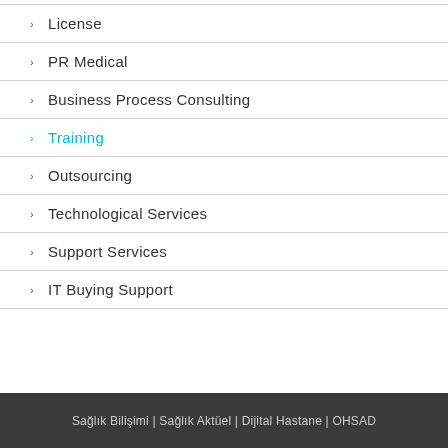License
PR Medical
Business Process Consulting
Training
Outsourcing
Technological Services
Support Services
IT Buying Support
Sağlık Bilişimi | Sağlık Aktüel | Dijital Hastane | OHSAD